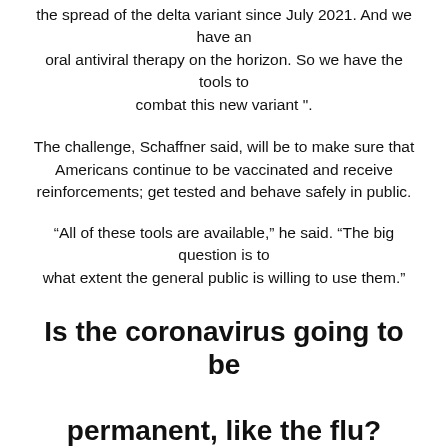the spread of the delta variant since July 2021. And we have an oral antiviral therapy on the horizon. So we have the tools to combat this new variant ".
The challenge, Schaffner said, will be to make sure that Americans continue to be vaccinated and receive reinforcements; get tested and behave safely in public.
“All of these tools are available,” he said. “The big question is to what extent the general public is willing to use them.”
Is the coronavirus going to be permanent, like the flu?
Experts believe that the coronavirus is unlikely to be eradicated from the world, as smallpox has been, or even eliminated in the United States, as was polio after near-universal vaccination.